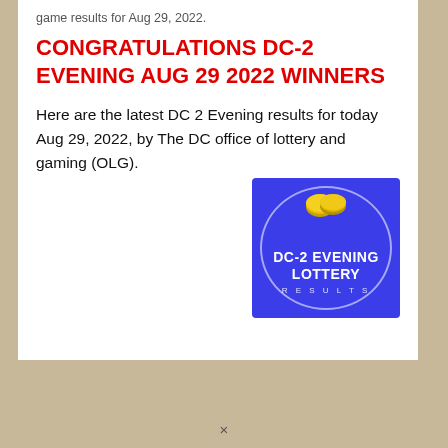game results for Aug 29, 2022.
CONGRATULATIONS DC-2 EVENING AUG 29 2022 WINNERS
Here are the latest DC 2 Evening results for today Aug 29, 2022, by The DC office of lottery and gaming (OLG).
[Figure (logo): Blue square logo with white circular border graphic, two gold coins at top, bold white text reading 'DC-2 EVENING LOTTERY' and smaller text 'RESULTS' below in letter-spaced style]